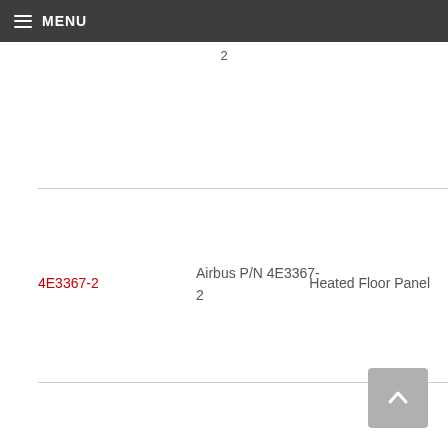MENU
2
4E3367-2
Airbus P/N 4E3367-2
Heated Floor Panel